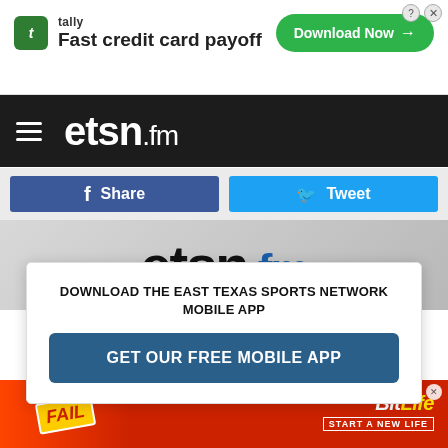[Figure (screenshot): Tally advertisement banner: Fast credit card payoff with Download Now button]
[Figure (logo): etsn.fm East Texas Sports Network navigation header with hamburger menu]
[Figure (screenshot): Facebook Share and Twitter Tweet social sharing buttons]
[Figure (logo): Large etsn.fm logo displayed as page image]
FINAL
Halldale – 45
Mount Pleasant – 38
DOWNLOAD THE EAST TEXAS SPORTS NETWORK MOBILE APP
GET OUR FREE MOBILE APP
Marshall – 40
Nacogdoches – 0
[Figure (screenshot): BitLife mobile game advertisement: FAIL character with Start a New Life text]